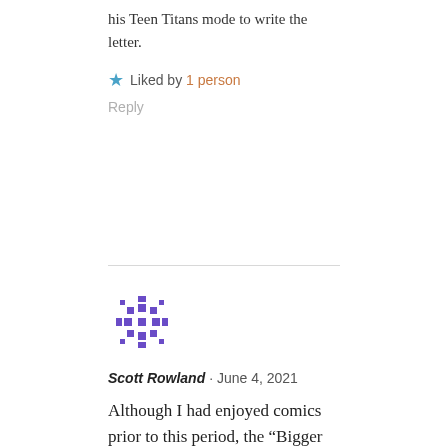his Teen Titans mode to write the letter.
Liked by 1 person
Reply
[Figure (illustration): Purple pixel/snowflake avatar icon for user Scott Rowland]
Scott Rowland · June 4, 2021
Although I had enjoyed comics prior to this period, the “Bigger and Better” era was when they really started meaning something more to me and started following specific series, so I